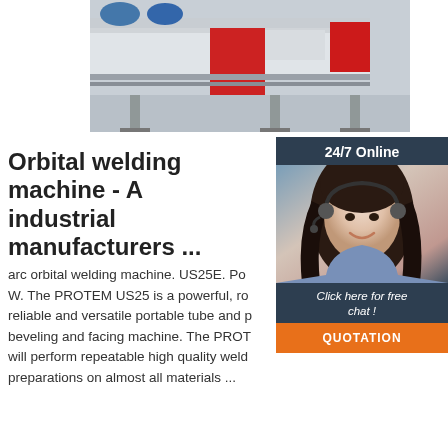[Figure (photo): Industrial welding/manufacturing machine in a factory, white and red colored machinery on factory floor]
Orbital welding machine - A industrial manufacturers ...
[Figure (infographic): Chat widget: 24/7 Online support with photo of woman wearing headset, Click here for free chat!, QUOTATION button]
arc orbital welding machine. US25E. Pow W. The PROTEM US25 is a powerful, ro reliable and versatile portable tube and p beveling and facing machine. The PROT will perform repeatable high quality weld preparations on almost all materials ...
[Figure (photo): Industrial crane or overhead equipment inside a large factory/warehouse with red structural beam]
Get Price